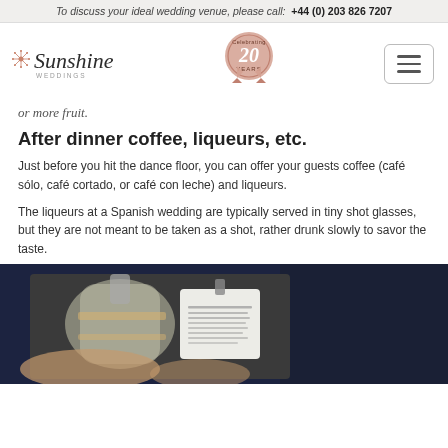To discuss your ideal wedding venue, please call:  +44 (0) 203 826 7207
[Figure (logo): Sunshine Weddings logo with decorative star and script text, 20 Years badge, and hamburger menu icon]
or more fruit.
After dinner coffee, liqueurs, etc.
Just before you hit the dance floor, you can offer your guests coffee (café sólo, café cortado, or café con leche) and liqueurs.
The liqueurs at a Spanish wedding are typically served in tiny shot glasses, but they are not meant to be taken as a shot, rather drunk slowly to savor the taste.
[Figure (photo): Close-up photo of hands holding a glass bottle with a tag/label attached, person wearing dark navy jacket in background]